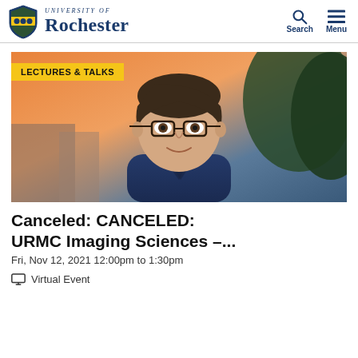University of Rochester — Search | Menu
[Figure (photo): Headshot photo of a man with glasses wearing a dark blue jacket, with a sunset sky and trees in the background. Yellow badge overlay reads LECTURES & TALKS.]
Canceled: CANCELED: URMC Imaging Sciences –...
Fri, Nov 12, 2021 12:00pm to 1:30pm
Virtual Event